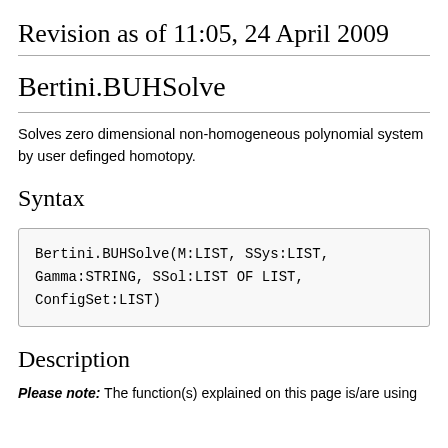Revision as of 11:05, 24 April 2009
Bertini.BUHSolve
Solves zero dimensional non-homogeneous polynomial system by user definged homotopy.
Syntax
Bertini.BUHSolve(M:LIST, SSys:LIST, Gamma:STRING, SSol:LIST OF LIST, ConfigSet:LIST)
Description
Please note: The function(s) explained on this page is/are using